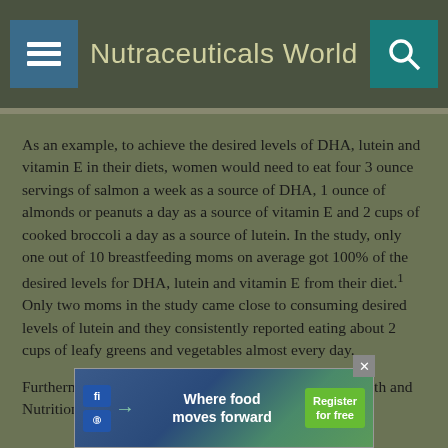Nutraceuticals World
As an example, to achieve the desired levels of DHA, lutein and vitamin E in their diets, women would need to eat four 3 ounce servings of salmon a week as a source of DHA, 1 ounce of almonds or peanuts a day as a source of vitamin E and 2 cups of cooked broccoli a day as a source of lutein. In the study, only one out of 10 breastfeeding moms on average got 100% of the desired levels for DHA, lutein and vitamin E from their diet.1 Only two moms in the study came close to consuming desired levels of lutein and they consistently reported eating about 2 cups of leafy greens and vegetables almost every day.
Furthermore, nutrient intake data from the National Health and Nutrition Examination Survey shows that the average